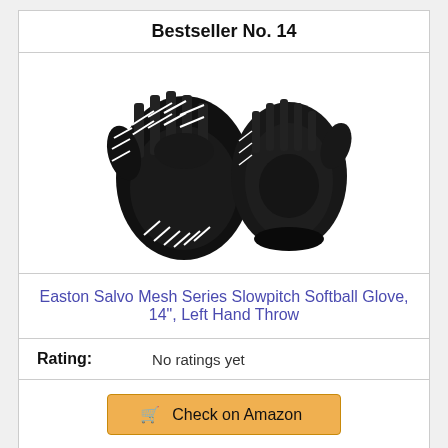Bestseller No. 14
[Figure (photo): Two black Easton Salvo Mesh Series softball gloves shown side by side, with white lacing and green Easton branding.]
Easton Salvo Mesh Series Slowpitch Softball Glove, 14", Left Hand Throw
Rating: No ratings yet
Check on Amazon
Bestseller No. 15